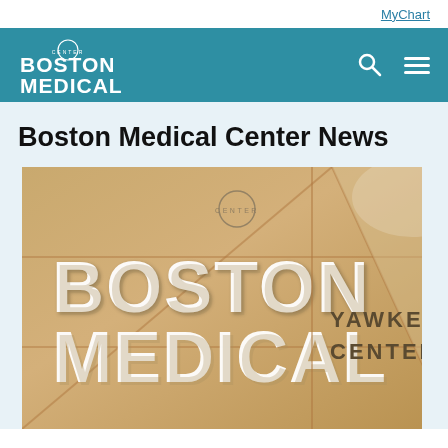MyChart
[Figure (logo): Boston Medical Center logo in white on teal navigation bar with search and menu icons]
Boston Medical Center News
[Figure (photo): Boston Medical Center Yawkey Center lobby sign — large letters spelling BOSTON MEDICAL CENTER on golden/tan wall panels with YAWKEY CENTER text to the right]